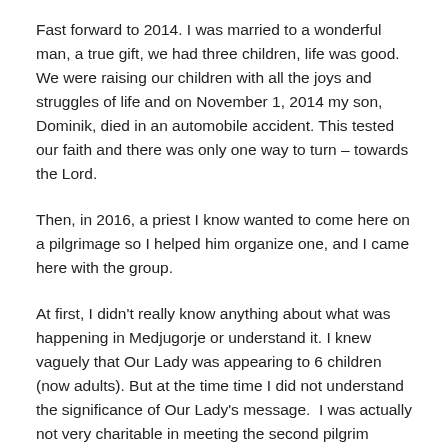Fast forward to 2014. I was married to a wonderful man, a true gift, we had three children, life was good. We were raising our children with all the joys and struggles of life and on November 1, 2014 my son, Dominik, died in an automobile accident. This tested our faith and there was only one way to turn – towards the Lord.
Then, in 2016, a priest I know wanted to come here on a pilgrimage so I helped him organize one, and I came here with the group.
At first, I didn't really know anything about what was happening in Medjugorje or understand it. I knew vaguely that Our Lady was appearing to 6 children (now adults). But at the time time I did not understand the significance of Our Lady's message.  I was actually not very charitable in meeting the second pilgrim group we were to join. I had heard that pilgrims always asked new pilgrims how many times they had been to Medjugorje. Mockingly in my head, I decided to use this